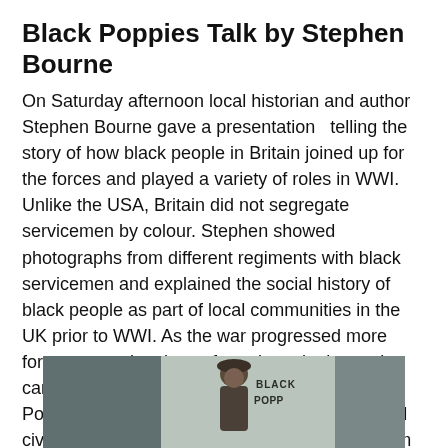Black Poppies Talk by Stephen Bourne
On Saturday afternoon local historian and author Stephen Bourne gave a presentation  telling the story of how black people in Britain joined up for the forces and played a variety of roles in WWI. Unlike the USA, Britain did not segregate servicemen by colour. Stephen showed photographs from different regiments with black servicemen and explained the social history of black people as part of local communities in the UK prior to WWI. As the war progressed more forces were also drawn from the colonies and came to fight in Europe.  Stephen's book Black Poppies gives plenty of detail on the military and civilian wartime experience of black Britons, from the trenches to the music halls.
[Figure (photo): Partial view of the book cover of 'Black Poppies' showing a black serviceman in military uniform and the book title text, with grey background panels on either side.]